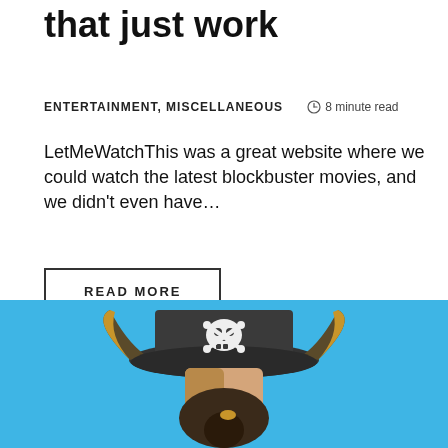that just work
ENTERTAINMENT, MISCELLANEOUS   ⊙ 8 minute read
LetMeWatchThis was a great website where we could watch the latest blockbuster movies, and we didn't even have…
READ MORE
[Figure (illustration): Social share icons: Facebook (f) and Pinterest (P) with a vertical divider between them]
[Figure (illustration): Flat illustration of a pirate character on a blue background, showing a pirate hat with skull and crossbones, horns, and a bearded face]